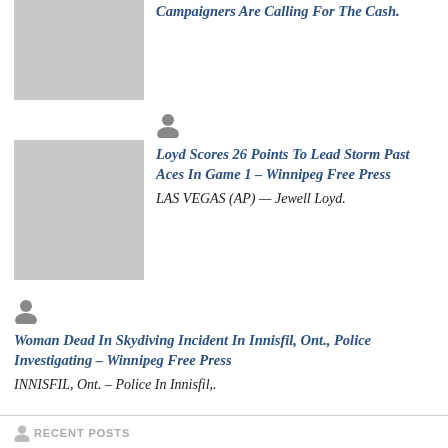[Figure (photo): Gray placeholder thumbnail image, top-left]
Campaigners Are Calling For The Cash.
[Figure (photo): Gray placeholder thumbnail image, second article]
Loyd Scores 26 Points To Lead Storm Past Aces In Game 1 – Winnipeg Free Press
LAS VEGAS (AP) — Jewell Loyd.
Woman Dead In Skydiving Incident In Innisfil, Ont., Police Investigating – Winnipeg Free Press
INNISFIL, Ont. – Police In Innisfil,.
RECENT POSTS
Big moments in PGA Tour season lost amid LIV Golf – Winnipeg Free Press